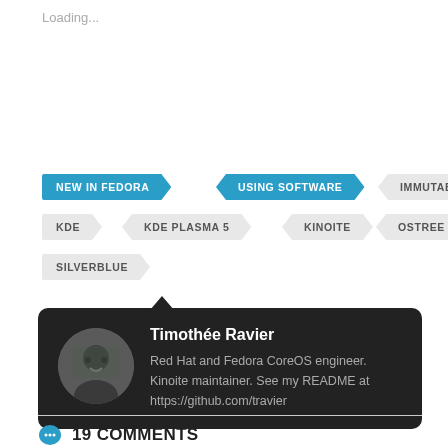Loading...
NEW IN FEDORA
USING SOFTWARE
IMMUTABLE
KDE
KDE PLASMA 5
KINOITE
OSTREE
SILVERBLUE
[Figure (photo): Circular avatar photo of Timothée Ravier]
Timothée Ravier
Red Hat and Fedora CoreOS engineer. Kinoite maintainer. See my README at https://github.com/travier
19 COMMENTS